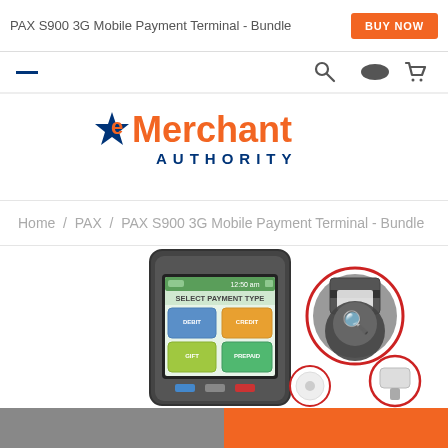PAX S900 3G Mobile Payment Terminal - Bundle
BUY NOW
[Figure (logo): eMerchant Authority logo with star and orange/blue text]
Home / PAX / PAX S900 3G Mobile Payment Terminal - Bundle
[Figure (photo): PAX S900 3G mobile payment terminal device showing SELECT PAYMENT TYPE screen with debit, credit, gift, and prepaid options. Next to it are bundled accessories in red circles including a receipt printer and power adapter.]